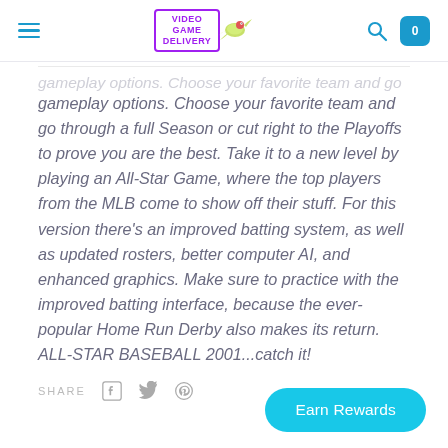Video Game Delivery [logo with hamburger menu, search icon, cart icon showing 0]
gameplay options. Choose your favorite team and go through a full Season or cut right to the Playoffs to prove you are the best. Take it to a new level by playing an All-Star Game, where the top players from the MLB come to show off their stuff. For this version there's an improved batting system, as well as updated rosters, better computer AI, and enhanced graphics. Make sure to practice with the improved batting interface, because the ever-popular Home Run Derby also makes its return. ALL-STAR BASEBALL 2001...catch it!
SHARE